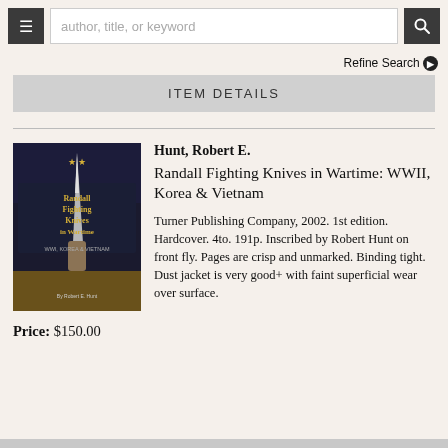author, title, or keyword
Refine Search
ITEM DETAILS
[Figure (photo): Book cover photo of 'Randall Fighting Knives in Wartime' by Robert E. Hunt, showing a knife and hands on the cover]
Hunt, Robert E.
Randall Fighting Knives in Wartime: WWII, Korea & Vietnam
Turner Publishing Company, 2002. 1st edition. Hardcover. 4to. 191p. Inscribed by Robert Hunt on front fly. Pages are crisp and unmarked. Binding tight. Dust jacket is very good+ with faint superficial wear over surface.
Price: $150.00